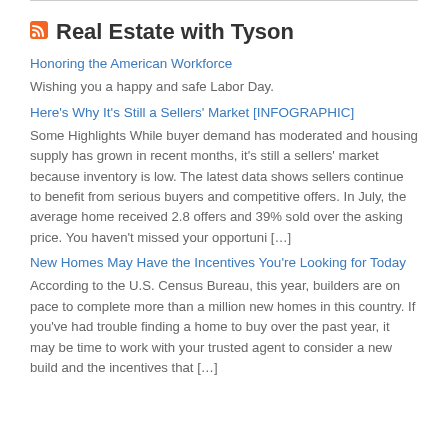Real Estate with Tyson
Honoring the American Workforce
Wishing you a happy and safe Labor Day.
Here's Why It's Still a Sellers' Market [INFOGRAPHIC]
Some Highlights While buyer demand has moderated and housing supply has grown in recent months, it's still a sellers' market because inventory is low. The latest data shows sellers continue to benefit from serious buyers and competitive offers. In July, the average home received 2.8 offers and 39% sold over the asking price. You haven't missed your opportuni […]
New Homes May Have the Incentives You're Looking for Today
According to the U.S. Census Bureau, this year, builders are on pace to complete more than a million new homes in this country. If you've had trouble finding a home to buy over the past year, it may be time to work with your trusted agent to consider a new build and the incentives that […]